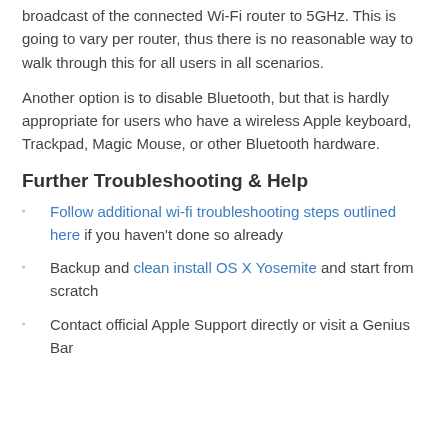broadcast of the connected Wi-Fi router to 5GHz. This is going to vary per router, thus there is no reasonable way to walk through this for all users in all scenarios.
Another option is to disable Bluetooth, but that is hardly appropriate for users who have a wireless Apple keyboard, Trackpad, Magic Mouse, or other Bluetooth hardware.
Further Troubleshooting & Help
Follow additional wi-fi troubleshooting steps outlined here if you haven't done so already
Backup and clean install OS X Yosemite and start from scratch
Contact official Apple Support directly or visit a Genius Bar